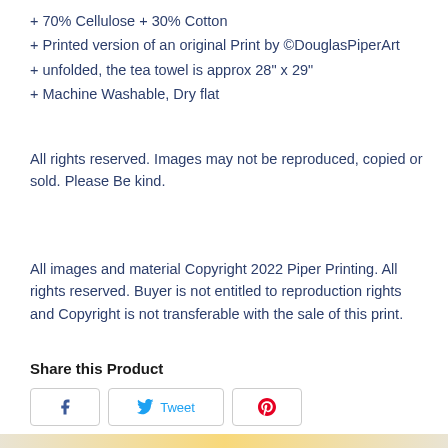+ 70% Cellulose + 30% Cotton
+ Printed version of an original Print by ©DouglasPiperArt
+ unfolded, the tea towel is approx 28" x 29"
+ Machine Washable, Dry flat
All rights reserved. Images may not be reproduced, copied or sold. Please Be kind.
All images and material Copyright 2022 Piper Printing. All rights reserved. Buyer is not entitled to reproduction rights and Copyright is not transferable with the sale of this print.
Share this Product
[Figure (other): Social sharing buttons: Facebook, Tweet, and Pinterest]